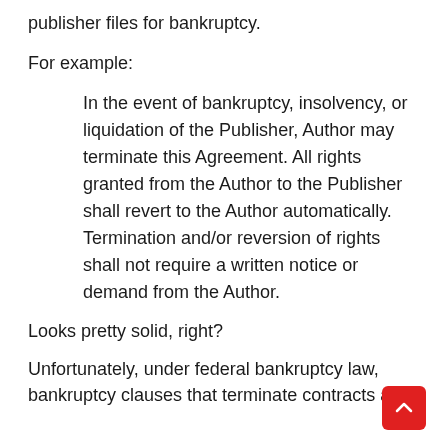publisher files for bankruptcy.
For example:
In the event of bankruptcy, insolvency, or liquidation of the Publisher, Author may terminate this Agreement. All rights granted from the Author to the Publisher shall revert to the Author automatically. Termination and/or reversion of rights shall not require a written notice or demand from the Author.
Looks pretty solid, right?
Unfortunately, under federal bankruptcy law, bankruptcy clauses that terminate contracts are